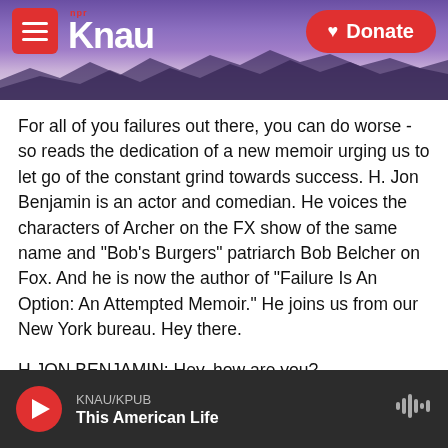[Figure (screenshot): KNAU NPR radio station website header with purple mountain background, hamburger menu button, KNAU logo, and red Donate button]
For all of you failures out there, you can do worse - so reads the dedication of a new memoir urging us to let go of the constant grind towards success. H. Jon Benjamin is an actor and comedian. He voices the characters of Archer on the FX show of the same name and "Bob's Burgers" patriarch Bob Belcher on Fox. And he is now the author of "Failure Is An Option: An Attempted Memoir." He joins us from our New York bureau. Hey there.
H JON BENJAMIN: Hey, how are you?
KELLY: I am well. Thank you. I can't let that subtitle
KNAU/KPUB
This American Life